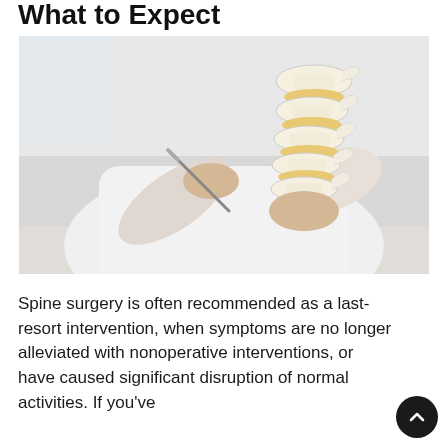What to Expect
[Figure (photo): A person in a white coat holding a spine anatomical model with one hand and pointing to the vertebrae with a pen or instrument in the other hand.]
Spine surgery is often recommended as a last-resort intervention, when symptoms are no longer alleviated with nonoperative interventions, or have caused significant disruption of normal activities. If you've